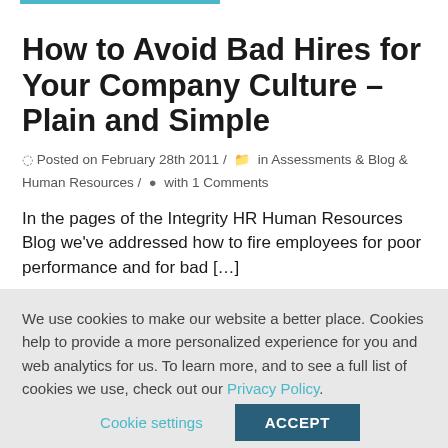How to Avoid Bad Hires for Your Company Culture – Plain and Simple
Posted on February 28th 2011 / in Assessments & Blog & Human Resources / with 1 Comments
In the pages of the Integrity HR Human Resources Blog we've addressed how to fire employees for poor performance and for bad […]
We use cookies to make our website a better place. Cookies help to provide a more personalized experience for you and web analytics for us. To learn more, and to see a full list of cookies we use, check out our Privacy Policy.
Cookie settings
ACCEPT